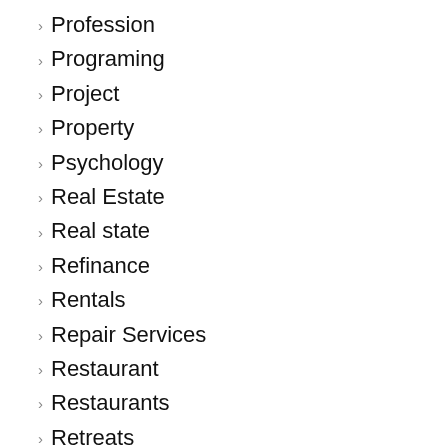Profession
Programing
Project
Property
Psychology
Real Estate
Real state
Refinance
Rentals
Repair Services
Restaurant
Restaurants
Retreats
Reusable Material
Robes
Safety Gears